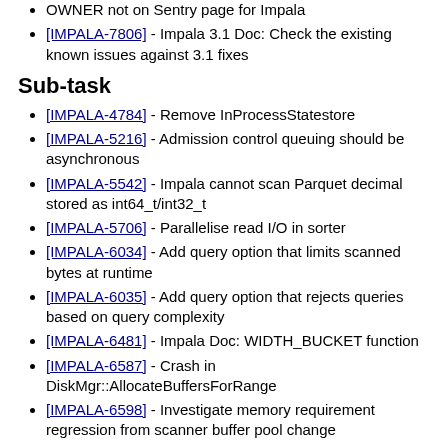OWNER not on Sentry page for Impala
[IMPALA-7806] - Impala 3.1 Doc: Check the existing known issues against 3.1 fixes
Sub-task
[IMPALA-4784] - Remove InProcessStatestore
[IMPALA-5216] - Admission control queuing should be asynchronous
[IMPALA-5542] - Impala cannot scan Parquet decimal stored as int64_t/int32_t
[IMPALA-5706] - Parallelise read I/O in sorter
[IMPALA-6034] - Add query option that limits scanned bytes at runtime
[IMPALA-6035] - Add query option that rejects queries based on query complexity
[IMPALA-6481] - Impala Doc: WIDTH_BUCKET function
[IMPALA-6587] - Crash in DiskMgr::AllocateBuffersForRange
[IMPALA-6598] - Investigate memory requirement regression from scanner buffer pool change
[IMPALA-6676] - Impala Doc: SHOW CREATE VIEW
[IMPALA-6677] - Impala Doc: Doc next_day function
[IMPALA-6678] - Better estimate of per-column compressed data size for low NDV columns